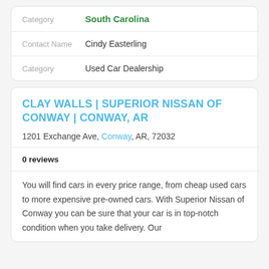| Category | South Carolina |
| Contact Name | Cindy Easterling |
| Category | Used Car Dealership |
CLAY WALLS | SUPERIOR NISSAN OF CONWAY | CONWAY, AR
1201 Exchange Ave, Conway, AR, 72032
0 reviews
You will find cars in every price range, from cheap used cars to more expensive pre-owned cars. With Superior Nissan of Conway you can be sure that your car is in top-notch condition when you take delivery. Our